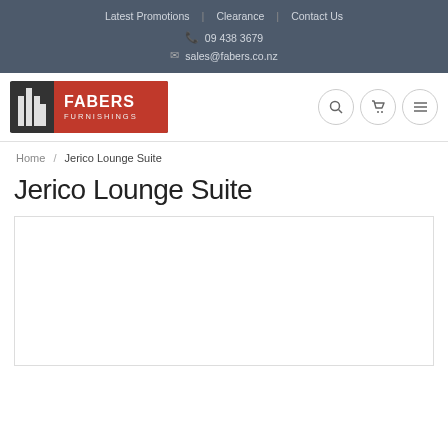Latest Promotions | Clearance | Contact Us
📞 09 438 3679
✉ sales@fabers.co.nz
[Figure (logo): Fabers Furnishings logo — dark background with building icon and red rectangle with white text FABERS FURNISHINGS]
Home / Jerico Lounge Suite
Jerico Lounge Suite
[Figure (photo): Product image area for Jerico Lounge Suite — white/empty image placeholder with border]